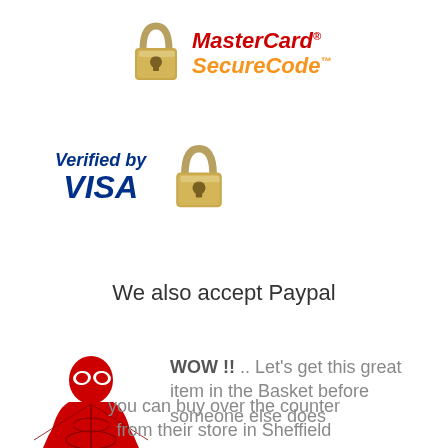[Figure (logo): MasterCard SecureCode logo with padlock icon — red italic 'MasterCard.' text and orange italic 'SecureCode.' text beside a gold padlock SVG]
[Figure (logo): Verified by Visa logo — blue italic 'Verified by' and large 'VISA' text beside a gold padlock SVG]
We also accept Paypal
[Figure (illustration): Spider-Man running figure illustration in red and blue costume]
WOW !!  .. Let's get this great item in the Basket before someone else does
Tilleys are fantastic, you can buy on line or if you can run like me
you can buy over the counter from their store in Sheffield